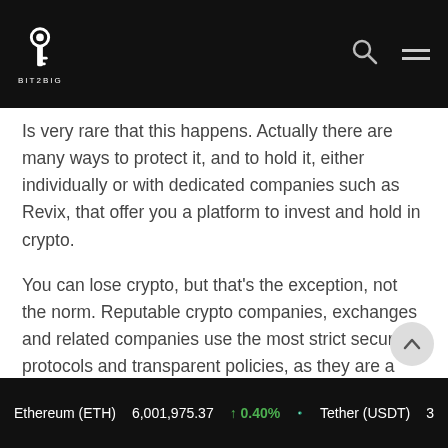BIT2BIG logo and navigation header
Is very rare that this happens. Actually there are many ways to protect it, and to hold it, either individually or with dedicated companies such as Revix, that offer you a platform to invest and hold in crypto.
You can lose crypto, but that’s the exception, not the norm. Reputable crypto companies, exchanges and related companies use the most strict security protocols and transparent policies, as they are a crucial part of the crypto ethos.
Crypto is still pretty new and can sometimes feel t[runcated]
Ethereum (ETH)  6,001,975.37  ↑ 0.40%  Tether (USDT)  3...